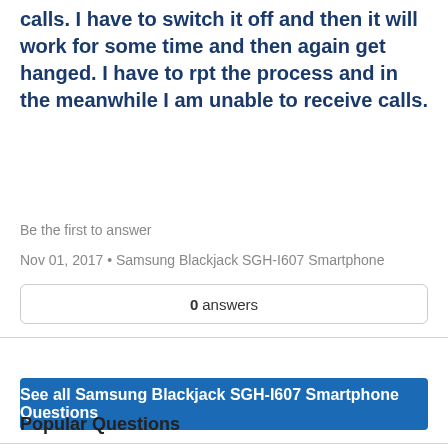calls. I have to switch it off and then it will work for some time and then again get hanged. I have to rpt the process and in the meanwhile I am unable to receive calls.
Be the first to answer
Nov 01, 2017 • Samsung Blackjack SGH-I607 Smartphone
0 answers
See all Samsung Blackjack SGH-I607 Smartphone Questions
Popular Questions